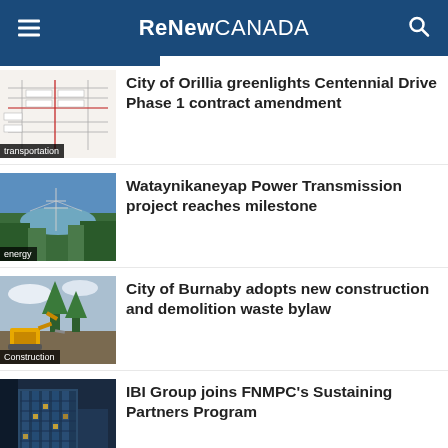ReNew CANADA
[Figure (screenshot): Partial engineering/transportation diagram thumbnail]
transportation
City of Orillia greenlights Centennial Drive Phase 1 contract amendment
[Figure (photo): Aerial photo of a transmission line corridor through forest and wetland]
energy
Wataynikaneyap Power Transmission project reaches milestone
[Figure (photo): Construction site with excavator and trees, demolition scene]
Construction
City of Burnaby adopts new construction and demolition waste bylaw
[Figure (photo): Modern glass office building exterior at dusk]
News
IBI Group joins FNMPC's Sustaining Partners Program